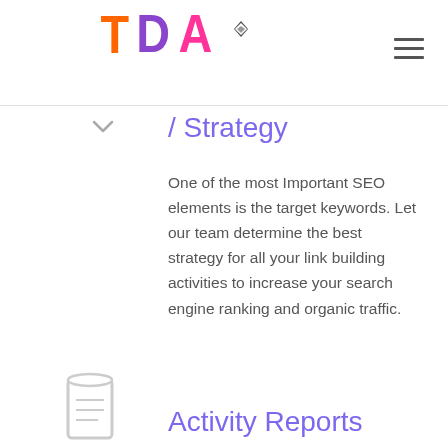[Figure (logo): The Digital Adda logo with colorful TDA lettering and text below]
/ Strategy
One of the most Important SEO elements is the target keywords. Let our team determine the best strategy for all your link building activities to increase your search engine ranking and organic traffic.
[Figure (illustration): Document/clipboard icon for Activity Reports section]
Activity Reports